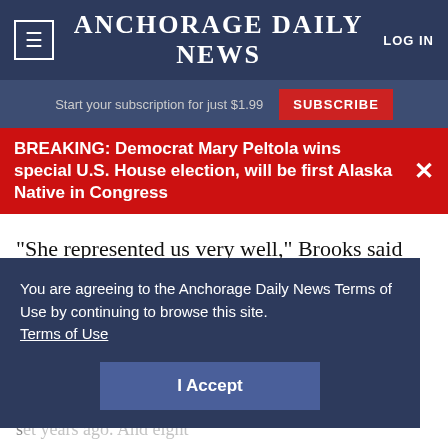≡ ANCHORAGE DAILY NEWS  LOG IN
Start your subscription for just $1.99  SUBSCRIBE
BREAKING: Democrat Mary Peltola wins special U.S. House election, will be first Alaska Native in Congress
"She represented us very well," Brooks said after congratulating both Forsberg and Ostrander in the finish chute.
Pease's record wasn't the only new record set Saturday. Ellyn Brown, 62, broke her own age group record by finishing in 1:08:11 cutting 47 seconds off the mark she set years ago. And eight
You are agreeing to the Anchorage Daily News Terms of Use by continuing to browse this site.
Terms of Use
I Accept